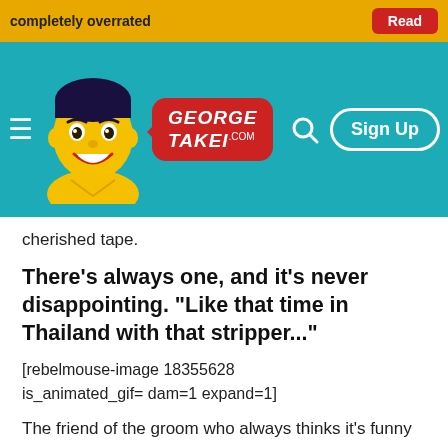completely overrated | Read
[Figure (logo): George Takei website header with teal background, cartoon avatar, red speech bubble logo reading GEORGE TAKEI .com, search icon, and Sign Up button]
cherished tape.
There's always one, and it's never disappointing. "Like that time in Thailand with that stripper..."
[rebelmouse-image 18355628 is_animated_gif= dam=1 expand=1]
The friend of the groom who always thinks it's funny to make cringe-worthy sex jokes.
My fabulous tuxedo is all the explanation you people need.